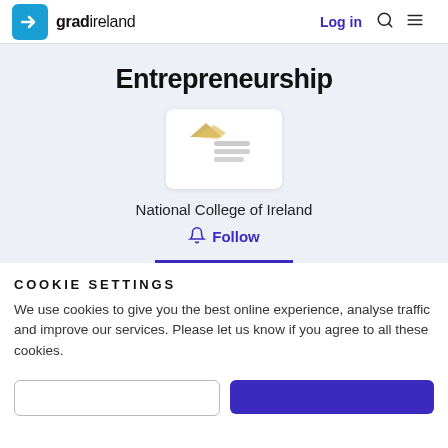gradireland — Log in
Entrepreneurship
[Figure (logo): National College of Ireland logo — blurred shield/crest icon with text]
National College of Ireland
Follow
COOKIE SETTINGS
We use cookies to give you the best online experience, analyse traffic and improve our services. Please let us know if you agree to all these cookies.